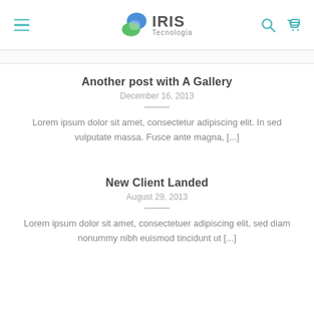IRIS Tecnologia
Another post with A Gallery
December 16, 2013
Lorem ipsum dolor sit amet, consectetur adipiscing elit. In sed vulputate massa. Fusce ante magna, [...]
New Client Landed
August 29, 2013
Lorem ipsum dolor sit amet, consectetuer adipiscing elit, sed diam nonummy nibh euismod tincidunt ut [...]